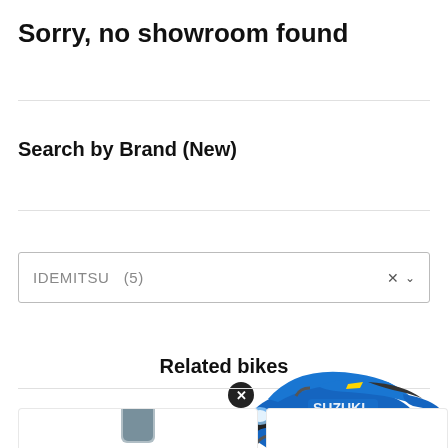Sorry, no showroom found
Search by Brand (New)
IDEMITSU  (5)
Related bikes
[Figure (photo): Partial view of a blue Suzuki Gixxer SF motorcycle overlapping with a product card area, with an X close button circle overlay]
[Figure (photo): Partial view of a motor oil bottle (red cap visible) on a white product card at bottom left]